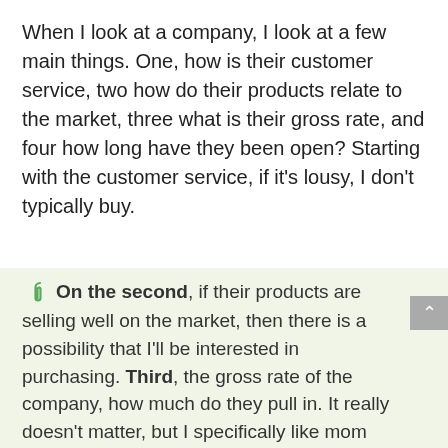When I look at a company, I look at a few main things. One, how is their customer service, two how do their products relate to the market, three what is their gross rate, and four how long have they been open? Starting with the customer service, if it's lousy, I don't typically buy.
On the second, if their products are selling well on the market, then there is a possibility that I'll be interested in purchasing. Third, the gross rate of the company, how much do they pull in. It really doesn't matter, but I specifically like mom